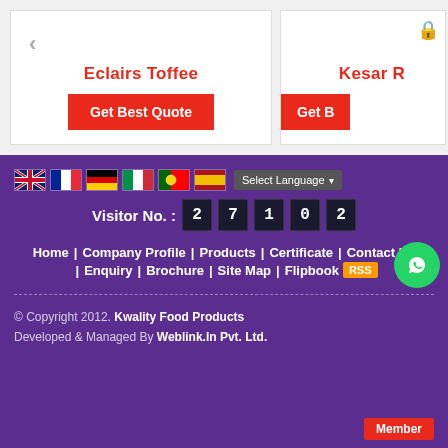Eclairs Toffee
Get Best Quote
Kesar R
Get B
[Figure (screenshot): Website footer with language flags (UK, France, Germany, Italy, Portugal, Spain), Select Language dropdown, visitor counter showing 27102, navigation links: Home, Company Profile, Products, Certificate, Contact Us, Enquiry, Brochure, Site Map, Flipbook, RSS badge, WhatsApp green circle icon]
© Copyright 2012. Kwality Food Products
Developed & Managed By Weblink.In Pvt. Ltd.
Member